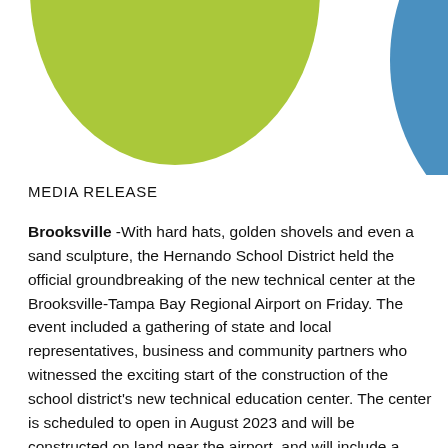[Figure (logo): Partial logo with a yellow-green half-circle on the left and a blue circle with a white rectangular cutout forming a U-shape on the right, cropped at top]
MEDIA RELEASE
Brooksville -With hard hats, golden shovels and even a sand sculpture, the Hernando School District held the official groundbreaking of the new technical center at the Brooksville-Tampa Bay Regional Airport on Friday. The event included a gathering of state and local representatives, business and community partners who witnessed the exciting start of the construction of the school district's new technical education center. The center is scheduled to open in August 2023 and will be constructed on land near the airport, and will include a county government center and corporate college.